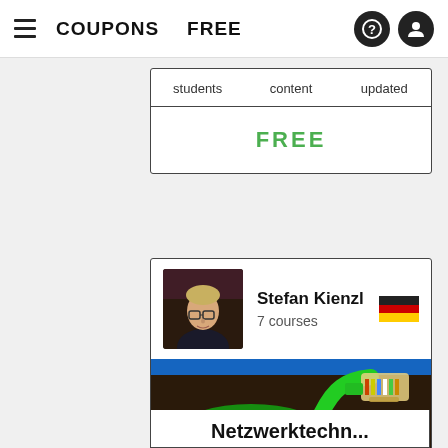COUPONS   FREE
| students | content | updated |
| --- | --- | --- |
| FREE |
Stefan Kienzl
7 courses
[Figure (photo): Photo of an Ethernet RJ45 connector attached to a green network cable, coiled, on a dark background with a blue stripe border.]
Netzwerktechnik Grundl...